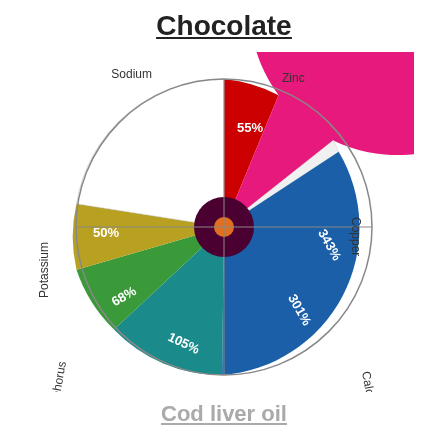Chocolate
[Figure (pie-chart): Chocolate]
Cod liver oil